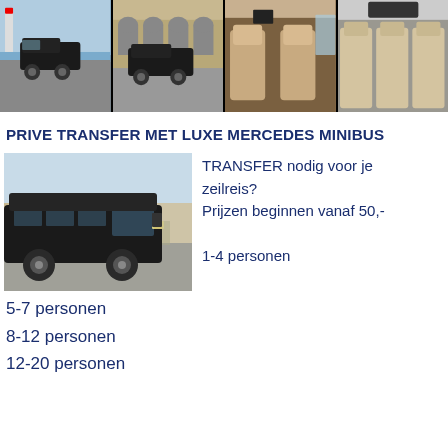[Figure (photo): Four photos of a black Mercedes minibus and its interior, shown in a horizontal strip at the top of the page.]
PRIVE TRANSFER MET LUXE MERCEDES MINIBUS
[Figure (photo): A black Mercedes Sprinter minibus parked near a waterfront with buildings in the background.]
TRANSFER nodig voor je zeilreis?
Prijzen beginnen vanaf 50,-

1-4 personen
5-7 personen
8-12 personen
12-20 personen